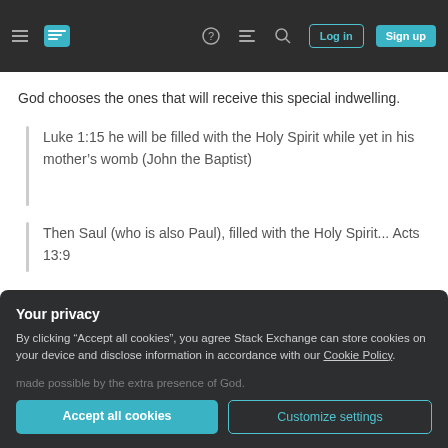Stack Exchange navigation bar with hamburger menu, logo, help, chat, search icons, Log in and Sign up buttons
God chooses the ones that will receive this special indwelling.
Luke 1:15 he will be filled with the Holy Spirit while yet in his mother's womb (John the Baptist)
Then Saul (who is also Paul), filled with the Holy Spirit... Acts 13:9
made possible by the extra presence of God.
Your privacy
By clicking "Accept all cookies", you agree Stack Exchange can store cookies on your device and disclose information in accordance with our Cookie Policy.
Accept all cookies
Customize settings